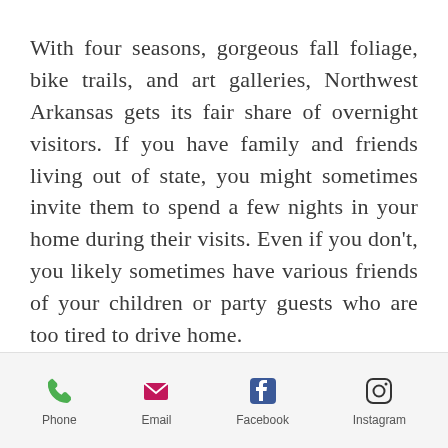With four seasons, gorgeous fall foliage, bike trails, and art galleries, Northwest Arkansas gets its fair share of overnight visitors. If you have family and friends living out of state, you might sometimes invite them to spend a few nights in your home during their visits. Even if you don't, you likely sometimes have various friends of your children or party guests who are too tired to drive home.
[Figure (infographic): Mobile app footer bar with four icons: Phone (green phone handset), Email (magenta envelope), Facebook (blue Facebook logo), Instagram (black Instagram camera icon), each with a text label below.]